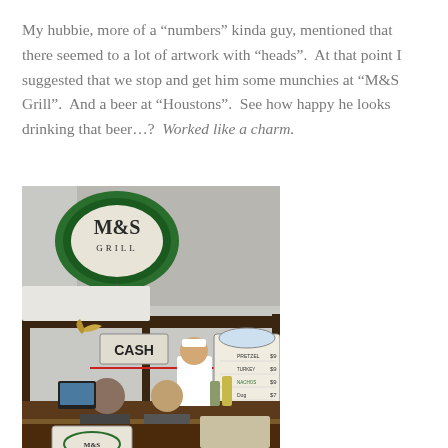My hubbie, more of a “numbers” kinda guy, mentioned that there seemed to a lot of artwork with “heads”.  At that point I suggested that we stop and get him some munchies at “M&S Grill”.  And a beer at “Houstons”.  See how happy he looks drinking that beer…?  Worked like a charm.
[Figure (photo): Outdoor food stall for M&S Grill showing signage, counter with workers, menu board, and a CASH sign hanging above.]